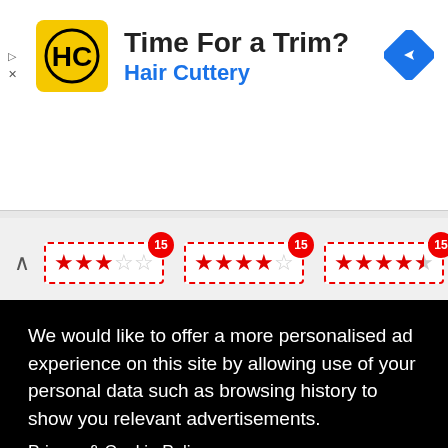[Figure (screenshot): Hair Cuttery advertisement banner with yellow logo, title 'Time For a Trim?' and blue subtitle 'Hair Cuttery', with a blue navigation diamond icon top right]
[Figure (screenshot): Star rating row showing three groups of star ratings each with a red badge showing '15', on a light grey background with a chevron up arrow]
We would like to offer a more personalised ad experience on this site by allowing use of your personal data such as browsing history to show you relevant advertisements.
Privacy & Cookie Policy
No thanks
I AGREE